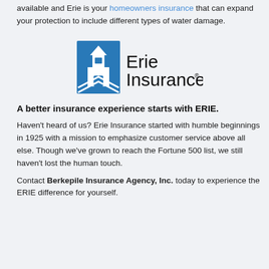available and Erie is your homeowners insurance that can expand your protection to include different types of water damage.
[Figure (logo): Erie Insurance logo — blue building/house icon on left with 'Erie Insurance' text on right]
A better insurance experience starts with ERIE.
Haven't heard of us? Erie Insurance started with humble beginnings in 1925 with a mission to emphasize customer service above all else. Though we've grown to reach the Fortune 500 list, we still haven't lost the human touch.
Contact Berkepile Insurance Agency, Inc. today to experience the ERIE difference for yourself.